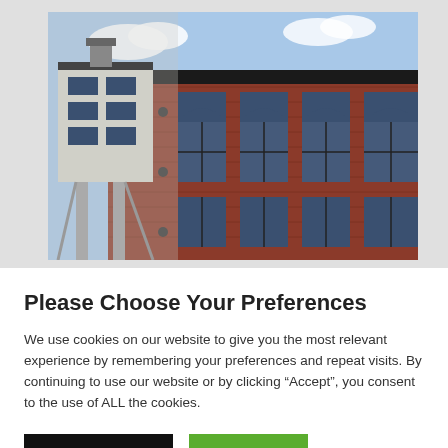[Figure (photo): Exterior photo of a multi-story brick industrial or commercial building with large arched windows and a modern architectural tower/penthouse structure on the left side, taken from a low angle against a blue sky.]
Please Choose Your Preferences
We use cookies on our website to give you the most relevant experience by remembering your preferences and repeat visits. By continuing to use our website or by clicking “Accept”, you consent to the use of ALL the cookies.
Cookie settings
ACCEPT